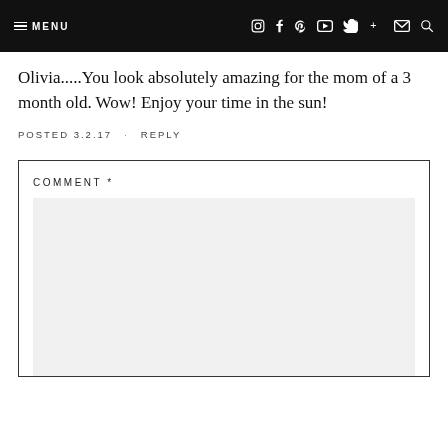MENU  [icons: Instagram, Facebook, Pinterest, YouTube, Twitter, Google+, Mail, Search]
Olivia.....You look absolutely amazing for the mom of a 3 month old. Wow! Enjoy your time in the sun!
POSTED 3.2.17  ·  REPLY
COMMENT *